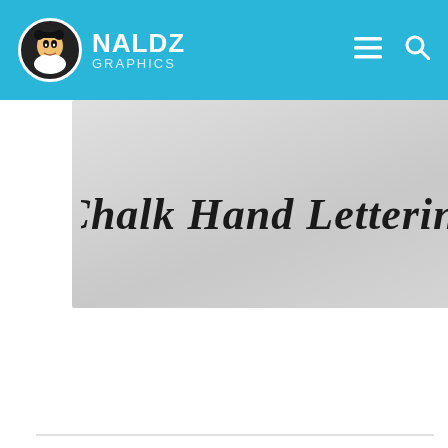NALDZ GRAPHICS
[Figure (illustration): Font preview image showing 'Chalk Hand Lettering' text in an ornate cursive/script style on a light gray gradient background]
Download
Personal use only, no commercial use.
Cool Crayon